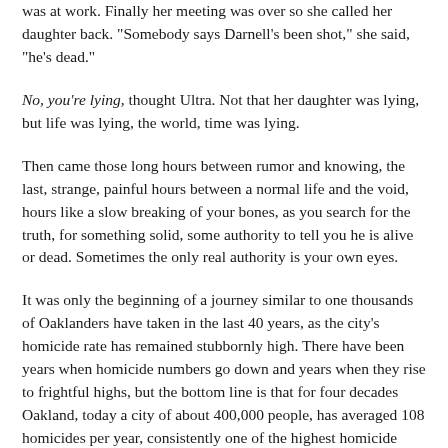was at work. Finally her meeting was over so she called her daughter back. "Somebody says Darnell's been shot," she said, "he's dead."
No, you're lying, thought Ultra. Not that her daughter was lying, but life was lying, the world, time was lying.
Then came those long hours between rumor and knowing, the last, strange, painful hours between a normal life and the void, hours like a slow breaking of your bones, as you search for the truth, for something solid, some authority to tell you he is alive or dead. Sometimes the only real authority is your own eyes.
It was only the beginning of a journey similar to one thousands of Oaklanders have taken in the last 40 years, as the city's homicide rate has remained stubbornly high. There have been years when homicide numbers go down and years when they rise to frightful highs, but the bottom line is that for four decades Oakland, today a city of about 400,000 people, has averaged 108 homicides per year, consistently one of the highest homicide rates in the nation. Even as other troubled cities across